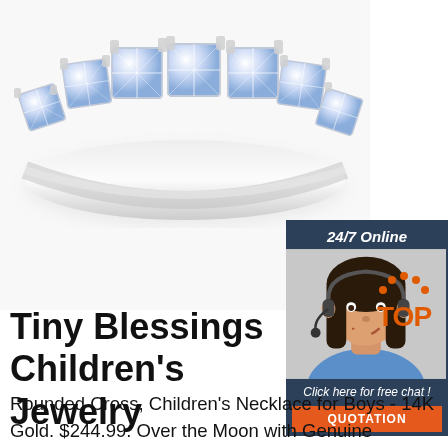[Figure (photo): Close-up photo of a diamond eternity ring with multiple square-cut diamonds set in white gold/silver prong settings against a white background.]
[Figure (photo): Customer service agent — woman with dark hair wearing a headset and blue shirt, smiling. Shown inside a dark navy/teal chat widget with '24/7 Online' label, 'Click here for free chat!' text, and an orange 'QUOTATION' button.]
Tiny Blessings Children's Jewelry
Rounded Cross, Children's Necklace for Boys - 14K Gold. $244.99. Over the Moon with Genuine Diamond, Teeny Tiny Children's Necklace for Boys -